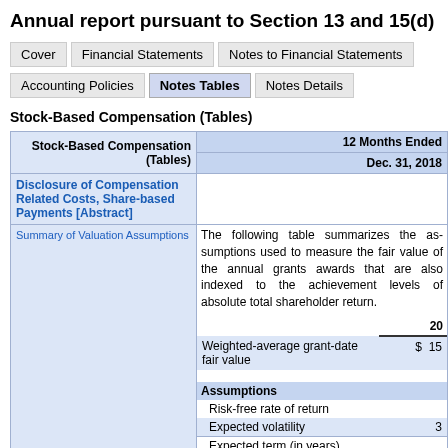Annual report pursuant to Section 13 and 15(d)
Stock-Based Compensation (Tables)
| Stock-Based Compensation (Tables) | 12 Months Ended Dec. 31, 2018 |
| --- | --- |
| Disclosure of Compensation Related Costs, Share-based Payments [Abstract] |  |
| Summary of Valuation Assumptions | The following table summarizes the assumptions used to measure the fair value of the annual grant awards that are also indexed to the achievement levels of absolute total shareholder return.
2018
Weighted-average grant-date fair value $ 15
Assumptions
Risk-free rate of return
Expected volatility 3
Expected term (in years) |